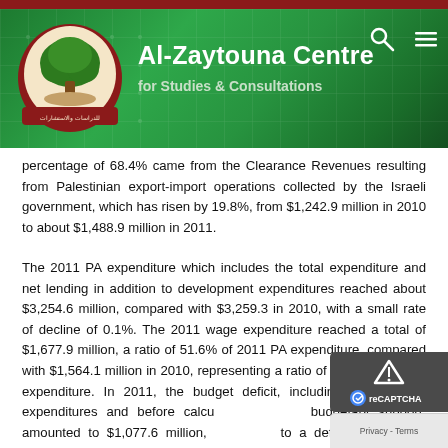Al-Zaytouna Centre for Studies & Consultations
percentage of 68.4% came from the Clearance Revenues resulting from Palestinian export-import operations collected by the Israeli government, which has risen by 19.8%, from $1,242.9 million in 2010 to about $1,488.9 million in 2011.
The 2011 PA expenditure which includes the total expenditure and net lending in addition to development expenditures reached about $3,254.6 million, compared with $3,259.3 in 2010, with a small rate of decline of 0.1%. The 2011 wage expenditure reached a total of $1,677.9 million, a ratio of 51.6% of 2011 PA expenditure, compared with $1,564.1 million in 2010, representing a ratio of 48% of 2010 PA expenditure. In 2011, the budget deficit, including development expenditures and before calculating external budgetary support, amounted to $1,077.6 million, compared to a deficit of $1,358.4 million in 2010. External budgetary support, including development financing amounts to $000.0 million in 2011.